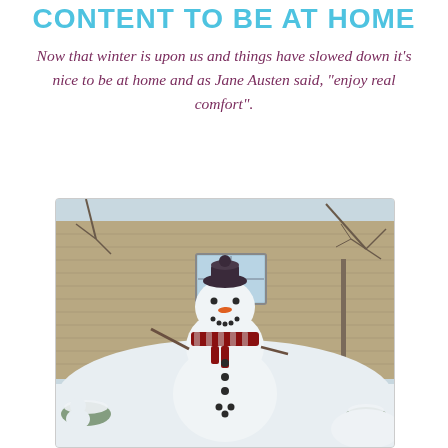CONTENT TO BE AT HOME
Now that winter is upon us and things have slowed down it's nice to be at home and as Jane Austen said, "enjoy real comfort".
[Figure (photo): A snowman with a dark hat, orange carrot nose, striped red and dark scarf, and buttons on its body, standing in a snowy yard in front of a beige house with bare winter trees in the background.]